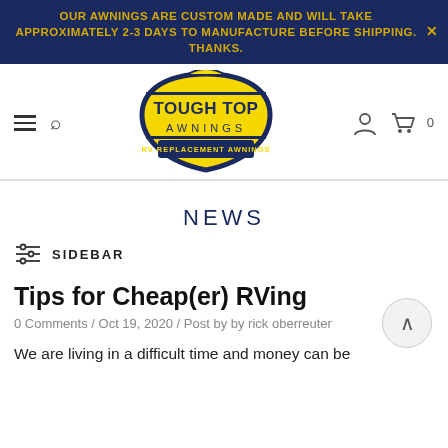OUR AWNINGS ARE CUSTOM MADE AND WILL TAKE APPROXIMATELY 2-3 DAYS TO MANUFACTURE BEFORE SHIPPING. THANKS.
[Figure (logo): Tough Top Awnings logo — yellow badge shape with dark navy border, text TOUGH TOP AWNINGS RV REPLACEMENT AWNINGS]
NEWS
SIDEBAR
Tips for Cheap(er) RVing
0 Comments / Oct 19, 2020 / Post by by rick oberreuter
We are living in a difficult time and money can be